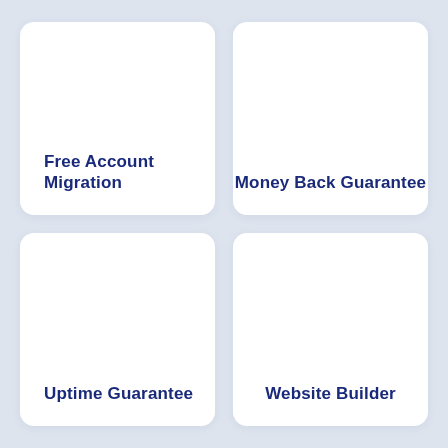Free Account Migration
Money Back Guarantee
Uptime Guarantee
Website Builder